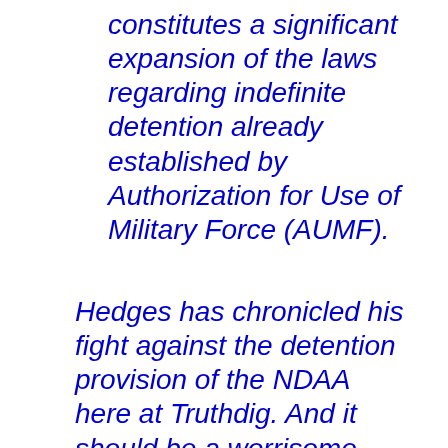constitutes a significant expansion of the laws regarding indefinite detention already established by Authorization for Use of Military Force (AUMF).
Hedges has chronicled his fight against the detention provision of the NDAA here at Truthdig. And it should be a worrisome provision